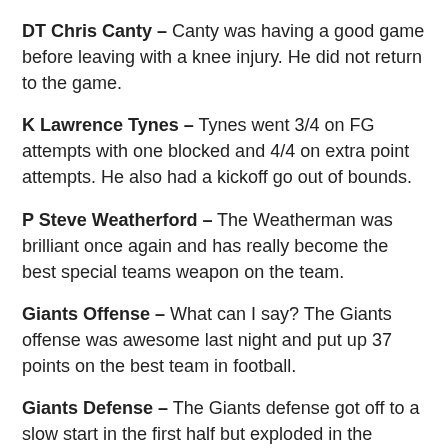DT Chris Canty – Canty was having a good game before leaving with a knee injury. He did not return to the game.
K Lawrence Tynes – Tynes went 3/4 on FG attempts with one blocked and 4/4 on extra point attempts. He also had a kickoff go out of bounds.
P Steve Weatherford – The Weatherman was brilliant once again and has really become the best special teams weapon on the team.
Giants Offense – What can I say? The Giants offense was awesome last night and put up 37 points on the best team in football.
Giants Defense – The Giants defense got off to a slow start in the first half but exploded in the second half to